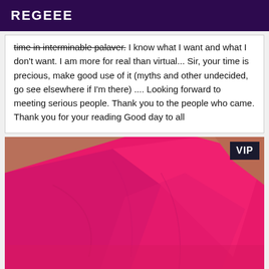REGEEE
time in interminable palaver. I know what I want and what I don't want. I am more for real than virtual... Sir, your time is precious, make good use of it (myths and other undecided, go see elsewhere if I'm there) .... Looking forward to meeting serious people. Thank you to the people who came. Thank you for your reading Good day to all
[Figure (photo): Close-up photo of a person wearing a bright pink/magenta garment, showing arm and fabric detail. VIP badge visible in upper right corner.]